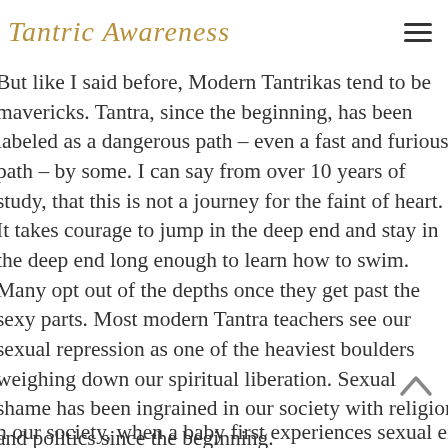Tantric Awareness
But like I said before, Modern Tantrikas tend to be mavericks. Tantra, since the beginning, has been labeled as a dangerous path – even a fast and furious path – by some. I can say from over 10 years of study, that this is not a journey for the faint of heart. It takes courage to jump in the deep end and stay in the deep end long enough to learn how to swim. Many opt out of the depths once they get past the sexy parts. Most modern Tantra teachers see our sexual repression as one of the heaviest boulders weighing down our spiritual liberation. Sexual shame has been ingrained in our society with religion and politics since the beginning.
n our society, when a baby first experiences sexual energy through